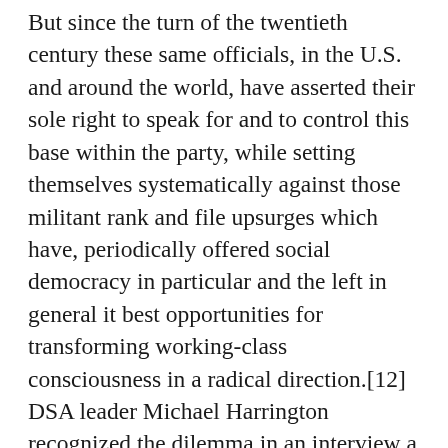But since the turn of the twentieth century these same officials, in the U.S. and around the world, have asserted their sole right to speak for and to control this base within the party, while setting themselves systematically against those militant rank and file upsurges which have, periodically offered social democracy in particular and the left in general it best opportunities for transforming working-class consciousness in a radical direction.[12] DSA leader Michael Harrington recognized the dilemma in an interview a number of years ago 'If you say to me, is it possible that someone who is now member of DSOC in the union movement will be so fixed and anchored in the bureaucracy that they will be appalled by the rank and file movement and try to put it down?